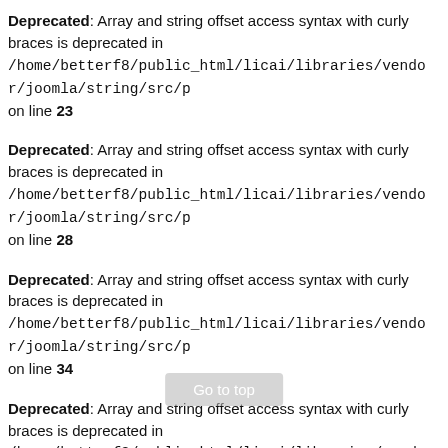Deprecated: Array and string offset access syntax with curly braces is deprecated in /home/betterf8/public_html/licai/libraries/vendor/joomla/string/src/p on line 23
Deprecated: Array and string offset access syntax with curly braces is deprecated in /home/betterf8/public_html/licai/libraries/vendor/joomla/string/src/p on line 28
Deprecated: Array and string offset access syntax with curly braces is deprecated in /home/betterf8/public_html/licai/libraries/vendor/joomla/string/src/p on line 34
Deprecated: Array and string offset access syntax with curly braces is deprecated in /home/betterf8/public_html/licai/libraries/vendor/joomla/string/src/p on line 38
[Figure (other): Go to top button]
Deprecated: Array and string offset access syntax with curly braces is deprecated in ...